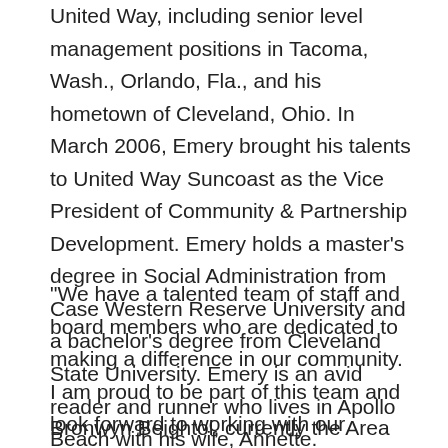United Way, including senior level management positions in Tacoma, Wash., Orlando, Fla., and his hometown of Cleveland, Ohio. In March 2006, Emery brought his talents to United Way Suncoast as the Vice President of Community & Partnership Development. Emery holds a master's degree in Social Administration from Case Western Reserve University and a bachelor's degree from Cleveland State University. Emery is an avid reader and runner who lives in Apollo Beach with his wife, Annette.
"We have a talented team of staff and board members who are dedicated to making a difference in our community. I am proud to be part of this team and look forward to working with our strategic partners to help individuals and families who need us now more than ever", says Emery Ivery.
Bronwyn Beightol, currently the Area President of Manatee County, will become the CIO for Manatee,